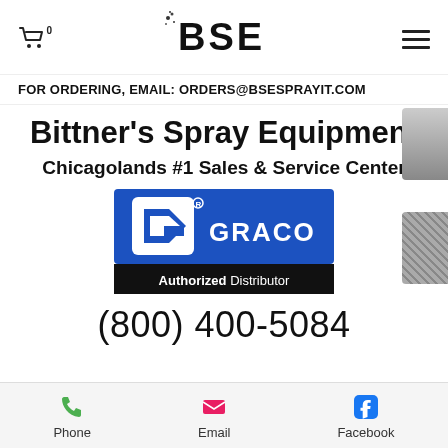BSE — Cart (0) — Menu
FOR ORDERING, EMAIL: ORDERS@BSESPRAYIT.COM
Bittner's Spray Equipment
Chicagolands #1 Sales & Service Center
[Figure (logo): Graco Authorized Distributor logo — blue background with white G shield mark and GRACO text, black band at bottom with 'Authorized Distributor' text]
(800) 400-5084
Phone | Email | Facebook